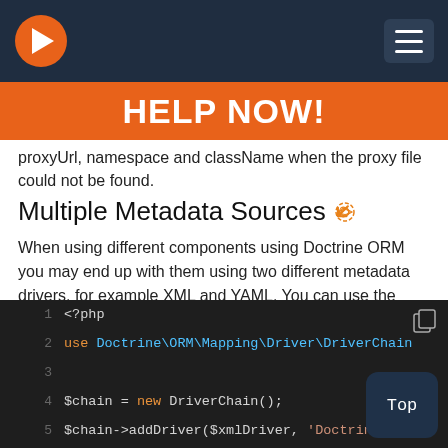[Figure (screenshot): Navigation bar with orange arrow logo on dark navy background and hamburger menu button on right]
[Figure (infographic): Orange banner with white bold text HELP NOW!]
proxyUrl, namespace and className when the proxy file could not be found.
Multiple Metadata Sources
When using different components using Doctrine ORM you may end up with them using two different metadata drivers, for example XML and YAML. You can use the DriverChain Metadata implementations to aggregate these drivers based on namespaces:
[Figure (screenshot): PHP code block on dark background showing lines 1-5: <?php, use Doctrine\ORM\Mapping\Driver\DriverChain, blank line, $chain = new DriverChain();, $chain->addDriver($xmlDriver, 'Doctrine\Te...]